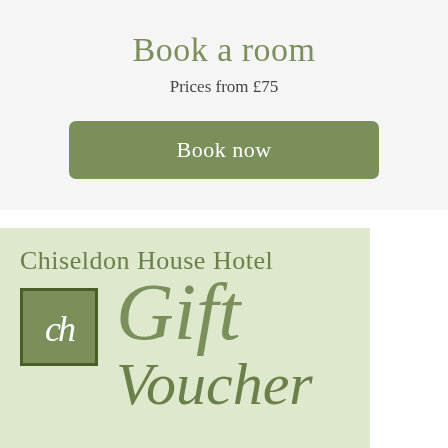Book a room
Prices from £75
Book now
[Figure (illustration): Chiseldon House Hotel gift voucher preview showing the hotel logo (stylized 'ch' monogram in a green square) and the words 'Gift Voucher' in large italic green text on a light green background]